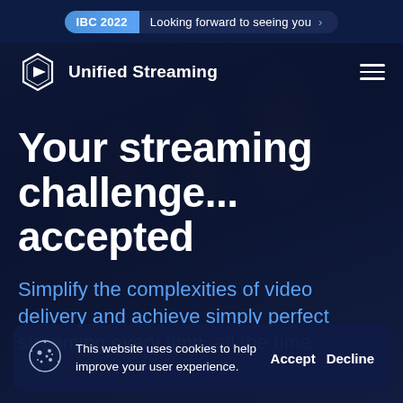IBC 2022  Looking forward to seeing you >
[Figure (logo): Unified Streaming hexagon logo icon with play button]
Unified Streaming
Your streaming challenge... accepted
Simplify the complexities of video delivery and achieve simply perfect streaming every time, all the time.
This website uses cookies to help improve your user experience.
Accept  Decline